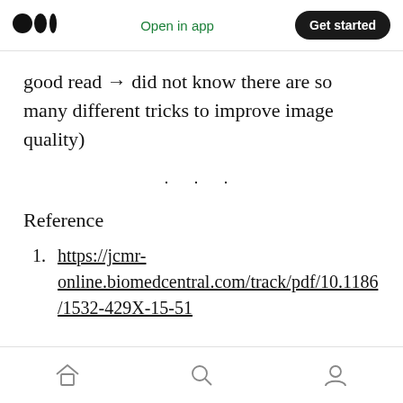Medium logo | Open in app | Get started
good read → did not know there are so many different tricks to improve image quality)
· · ·
Reference
1. https://jcmr-online.biomedcentral.com/track/pdf/10.1186/1532-429X-15-51
Home | Search | Profile